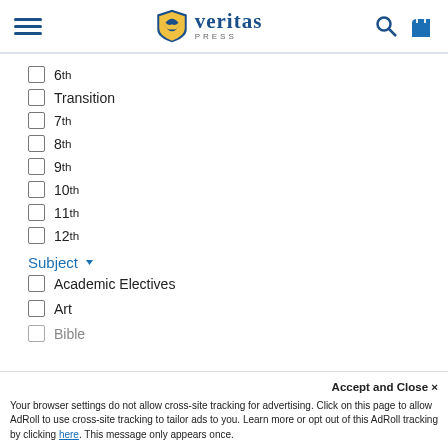Veritas Press
6th
Transition
7th
8th
9th
10th
11th
12th
Subject
Academic Electives
Art
Bible
Accept and Close ×
Your browser settings do not allow cross-site tracking for advertising. Click on this page to allow AdRoll to use cross-site tracking to tailor ads to you. Learn more or opt out of this AdRoll tracking by clicking here. This message only appears once.